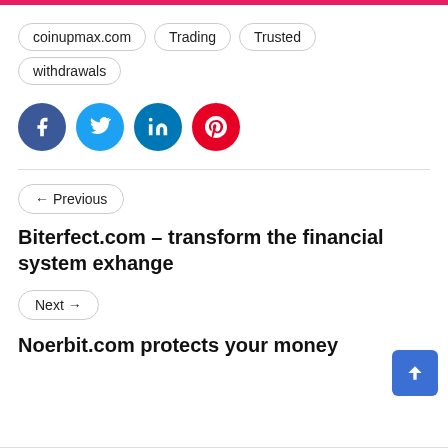coinupmax.com
Trading
Trusted
withdrawals
[Figure (infographic): Four social media sharing icons in circles: Facebook (dark blue, f), Twitter (light blue, bird), LinkedIn (blue, in), Pinterest (red, p)]
← Previous
Biterfect.com – transform the financial system exhange
Next →
Noerbit.com protects your money